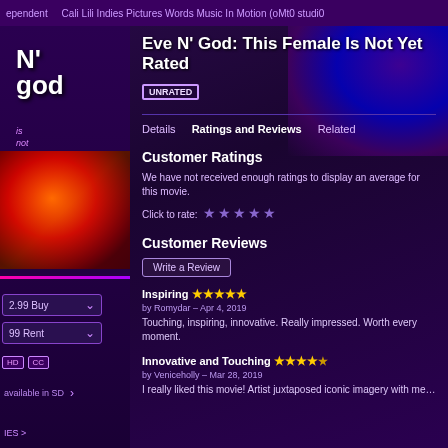ependent   Cali Lili Indies Pictures Words Music In Motion (oMt0 studi0
[Figure (screenshot): Movie logo: N' god, with tagline 'is not yet rated' in purple/pink text on dark purple background]
[Figure (photo): Movie thumbnail showing dramatic red and orange lit face with dark background]
2.99 Buy
99 Rent
HD  CC
available in SD  >
IES >
Eve N' God: This Female Is Not Yet Rated
UNRATED
Details   Ratings and Reviews   Related
Customer Ratings
We have not received enough ratings to display an average for this movie.
Click to rate:  ☆☆☆☆☆
Customer Reviews
Write a Review
Inspiring ★★★★★
by Romydar – Apr 4, 2019
Touching, inspiring, innovative. Really impressed. Worth every moment.
Innovative and Touching ★★★★☆
by Veniceholly – Mar 28, 2019
I really liked this movie! Artist juxtaposed iconic imagery with meaningful content. screenwriter/director/lyricist/musician/actor is a courageous, creative, and cutting